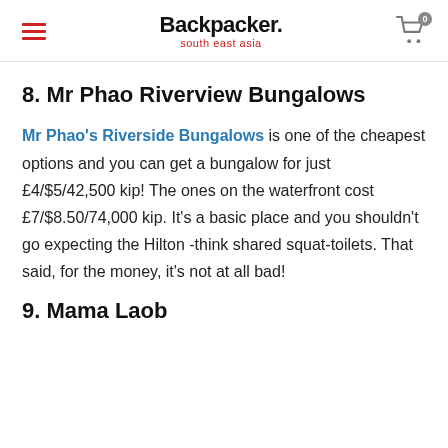Backpacker. south east asia
8. Mr Phao Riverview Bungalows
Mr Phao's Riverside Bungalows is one of the cheapest options and you can get a bungalow for just £4/$5/42,500 kip! The ones on the waterfront cost £7/$8.50/74,000 kip. It's a basic place and you shouldn't go expecting the Hilton -think shared squat-toilets. That said, for the money, it's not at all bad!
9. Mama Laob